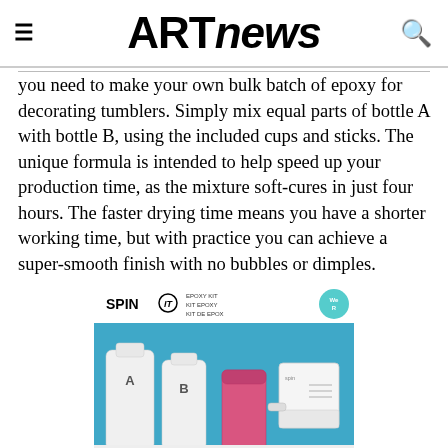ARTnews
you need to make your own bulk batch of epoxy for decorating tumblers. Simply mix equal parts of bottle A with bottle B, using the included cups and sticks. The unique formula is intended to help speed up your production time, as the mixture soft-cures in just four hours. The faster drying time means you have a shorter working time, but with practice you can achieve a super-smooth finish with no bubbles or dimples.
[Figure (photo): Product photo of the Spin It Epoxy Kit showing two white bottles labeled A and B, a pink tumbler, and a white spinning machine on a blue background, with the Spin It logo and We R brand badge at the top.]